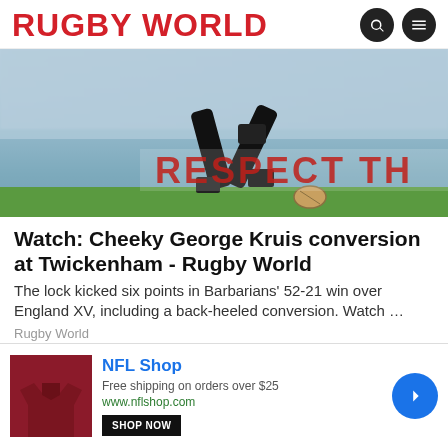RUGBY WORLD
[Figure (photo): Rugby player kicking a ball on field, with 'RESPECT TH' banner visible in background]
Watch: Cheeky George Kruis conversion at Twickenham - Rugby World
The lock kicked six points in Barbarians' 52-21 win over England XV, including a back-heeled conversion. Watch …
Rugby World
[Figure (photo): Aerial topographic map of North America showing terrain and Great Lakes region]
NFL Shop
Free shipping on orders over $25
www.nflshop.com
SHOP NOW